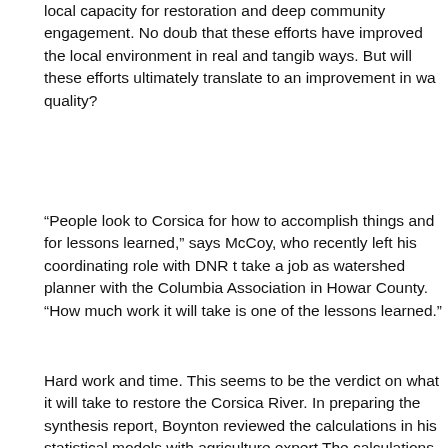local capacity for restoration and deep community engagement. No doubt that these efforts have improved the local environment in real and tangible ways. But will these efforts ultimately translate to an improvement in water quality?
“People look to Corsica for how to accomplish things and for lessons learned,” says McCoy, who recently left his coordinating role with DNR to take a job as watershed planner with the Columbia Association in Howard County. “How much work it will take is one of the lessons learned.”
Hard work and time. This seems to be the verdict on what it will take to restore the Corsica River. In preparing the synthesis report, Boynton reviewed the calculations in his statistical models with agriculture experts. The calculations suggest that the watershed still needs to do a lot of cover cropping — early planting, year in and year out, to really achieve reductions in nutrient loads. It will take time, he says. Nitrogen that seeps into the ground can reside in groundwater for more than a decade. Once enough cover crops are in the ground, one could still expect a lag time of anywhere from five to eight years for nutrient loads to actually decline.
With aggressive cover cropping, combined with continued upgrades to